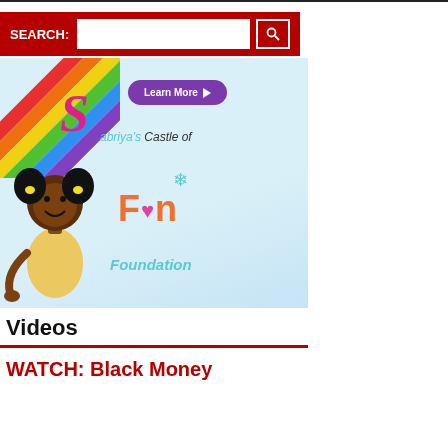[Figure (screenshot): Search bar with red background, SEARCH: label, text input field, and magnifying glass button]
[Figure (illustration): Sabriya's Castle of Fun Foundation banner with rainbow stripes, cartoon girl character, cursive S logo in pink, purple Learn More button, and colorful Fun Foundation text]
Videos
WATCH: Black Money